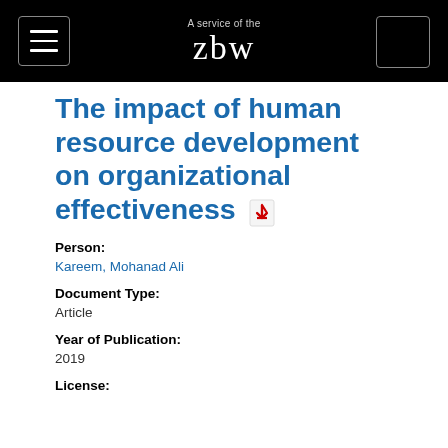A service of the zbw
The impact of human resource development on organizational effectiveness
Person:
Kareem, Mohanad Ali
Document Type:
Article
Year of Publication:
2019
License: